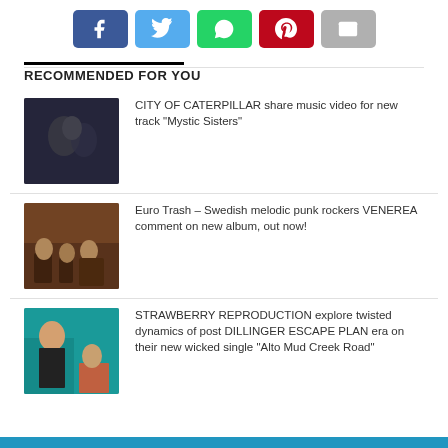[Figure (infographic): Row of five social sharing buttons: Facebook (blue), Twitter (light blue), WhatsApp (green), Pinterest (red), Email (gray)]
RECOMMENDED FOR YOU
[Figure (photo): Dark, blurry photo of a band or musician – City of Caterpillar]
CITY OF CATERPILLAR share music video for new track “Mystic Sisters”
[Figure (photo): Photo of a group of people in a room – VENEREA band]
Euro Trash – Swedish melodic punk rockers VENEREA comment on new album, out now!
[Figure (photo): Photo of two people against a teal/turquoise wall – Strawberry Reproduction]
STRAWBERRY REPRODUCTION explore twisted dynamics of post DILLINGER ESCAPE PLAN era on their new wicked single “Alto Mud Creek Road”